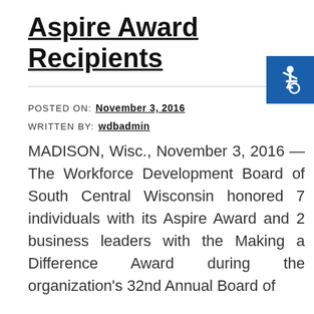Aspire Award Recipients
POSTED ON:  November 3, 2016
WRITTEN BY:  wdbadmin
MADISON, Wisc., November 3, 2016 — The Workforce Development Board of South Central Wisconsin honored 7 individuals with its Aspire Award and 2 business leaders with the Making a Difference Award during the organization's 32nd Annual Board of
[Figure (illustration): Blue accessibility icon button in the top right corner showing a wheelchair user symbol on a blue background]